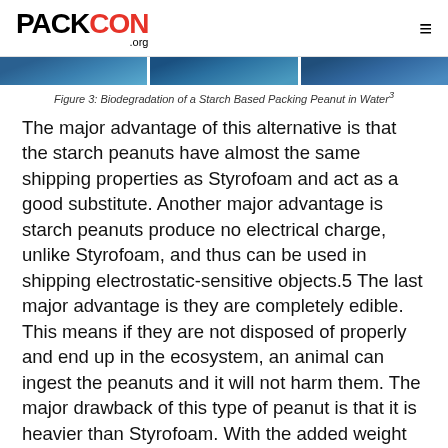PACKCON .org
[Figure (photo): Three-panel image strip showing biodegradation of a starch based packing peanut in water]
Figure 3: Biodegradation of a Starch Based Packing Peanut in Water³
The major advantage of this alternative is that the starch peanuts have almost the same shipping properties as Styrofoam and act as a good substitute. Another major advantage is starch peanuts produce no electrical charge, unlike Styrofoam, and thus can be used in shipping electrostatic-sensitive objects.5 The last major advantage is they are completely edible. This means if they are not disposed of properly and end up in the ecosystem, an animal can ingest the peanuts and it will not harm them. The major drawback of this type of peanut is that it is heavier than Styrofoam. With the added weight of this material, it will